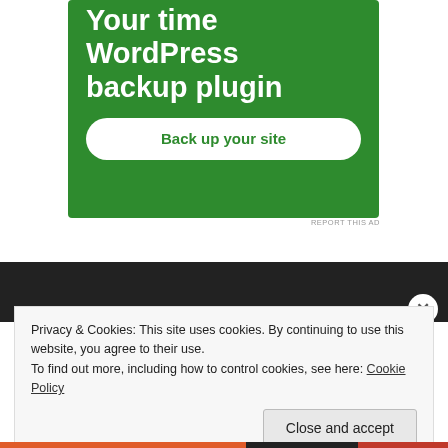[Figure (illustration): Green advertisement banner for a WordPress backup plugin with white bold text reading 'Your time WordPress backup plugin' and a white rounded button with green text 'Back up your site']
REPORT THIS AD
Privacy & Cookies: This site uses cookies. By continuing to use this website, you agree to their use.
To find out more, including how to control cookies, see here: Cookie Policy
Close and accept